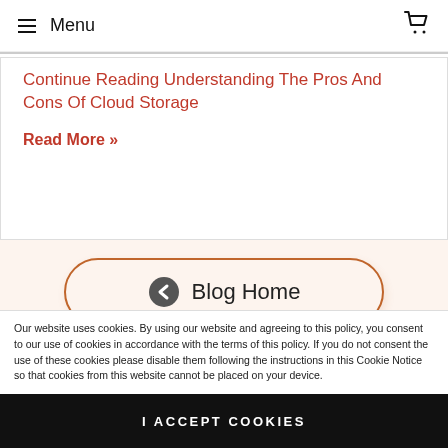Menu
Continue Reading Understanding The Pros And Cons Of Cloud Storage
Read More »
[Figure (infographic): Blog Home navigation button with left chevron icon, rounded pill shape with orange border on light peach background]
Categories
Our website uses cookies. By using our website and agreeing to this policy, you consent to our use of cookies in accordance with the terms of this policy. If you do not consent the use of these cookies please disable them following the instructions in this Cookie Notice so that cookies from this website cannot be placed on your device.
I ACCEPT COOKIES